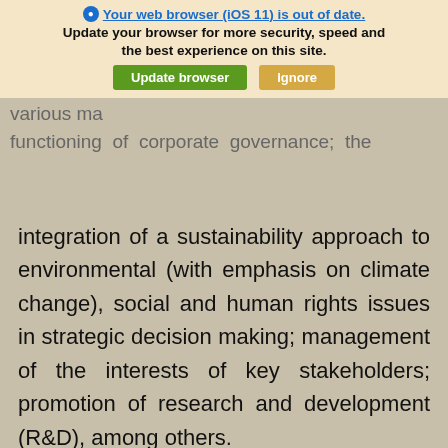[Figure (screenshot): Browser update notification banner overlaying page content. Shows icon and bold blue underlined text 'Your web browser (iOS 11) is out of date.' with message 'Update your browser for more security, speed and the best experience on this site.' and two buttons: green 'Update browser' and tan 'Ignore'.]
integration of a sustainability approach to environmental (with emphasis on climate change), social and human rights issues in strategic decision making; management of the interests of key stakeholders; promotion of research and development (R&D), among others.
In addition, various reports on the composition and functioning of the Board of Directors are included, as well as information on the main executives, including in aggregate and comparative form with the previous year, the